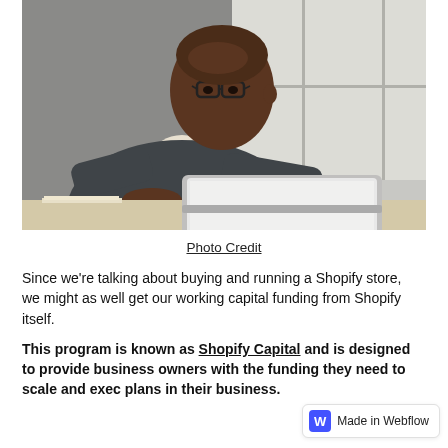[Figure (photo): A Black man wearing glasses and a dark sweater working on a laptop at a desk near a window, in an office or home office setting.]
Photo Credit
Since we’re talking about buying and running a Shopify store, we might as well get our working capital funding from Shopify itself.
This program is known as Shopify Capital and is designed to provide business owners with the funding they need to scale and exec plans in their business.